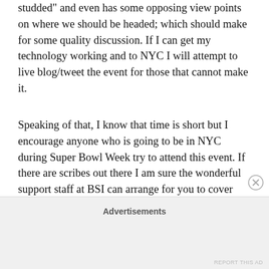studded" and even has some opposing view points on where we should be headed; which should make for some quality discussion.  If I can get my technology working and to NYC I will attempt to live blog/tweet the event for those that cannot make it.
Speaking of that, I know that time is short but I encourage anyone who is going to be in NYC during Super Bowl Week try to attend this event.  If there are scribes out there I am sure the wonderful support staff at BSI can arrange for you to cover and meet the star of the show – me, of course – hahahahaha, I kid.  Seriously, you can register HERE and if you have questions feel free to contact them.
Advertisements